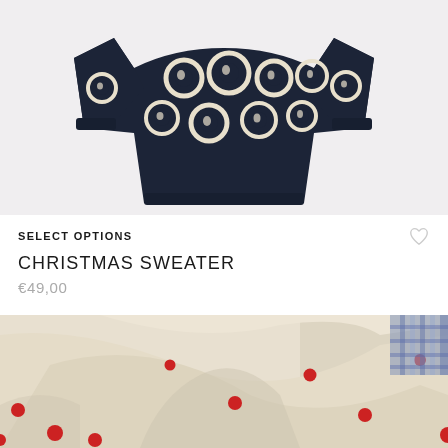[Figure (photo): Dark navy Christmas sweater with circular eye-like patterns in cream/white, photographed against a pale pink/grey background]
SELECT OPTIONS
CHRISTMAS SWEATER
€49,00
[Figure (photo): Cream/beige fabric or garment laid flat with scattered red polka dots, photographed against a light background with a rug visible in the upper right corner]